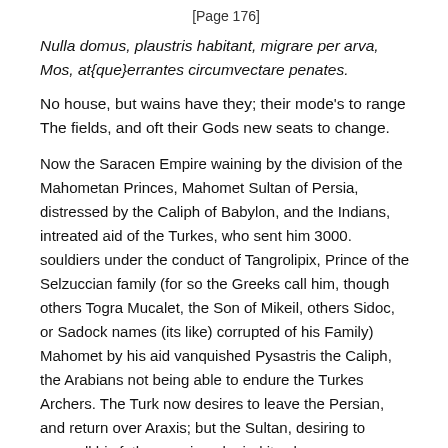[Page 176]
Nulla domus, plaustris habitant, migrare per arva,
Mos, at{que}errantes circumvectare penates.
No house, but wains have they; their mode's to range
The fields, and oft their Gods new seats to change.
Now the Saracen Empire waining by the division of the Mahometan Princes, Mahomet Sultan of Persia, distressed by the Caliph of Babylon, and the Indians, intreated aid of the Turkes, who sent him 3000. souldiers under the conduct of Tangrolipix, Prince of the Selzuccian family (for so the Greeks call him, though others Togra Mucalet, the Son of Mikeil, others Sidoc, or Sadock names (its like) corrupted of his Family) Mahomet by his aid vanquished Pysastris the Caliph, the Arabians not being able to endure the Turkes Archers. The Turk now desires to leave the Persian, and return over Araxis; but the Sultan, desiring to compell his father service, denied it; whereupon Tangrolipix not being able to keep the field against such numbers, betook himself to the Carmanian Deserts,